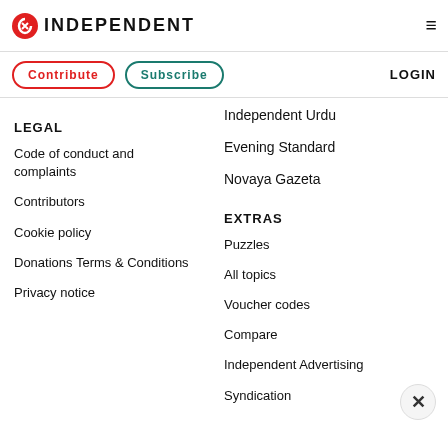INDEPENDENT
Contribute  Subscribe  LOGIN
Independent Urdu
Evening Standard
Novaya Gazeta
LEGAL
Code of conduct and complaints
Contributors
Cookie policy
Donations Terms & Conditions
Privacy notice
EXTRAS
Puzzles
All topics
Voucher codes
Compare
Independent Advertising
Syndication